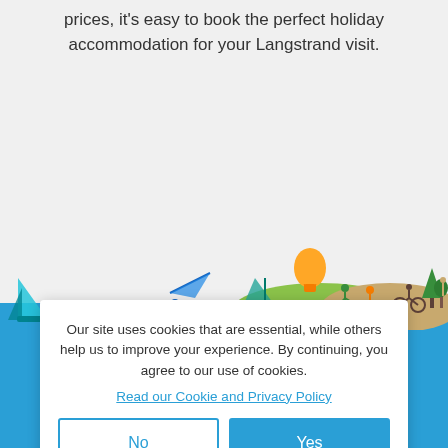prices, it's easy to book the perfect holiday accommodation for your Langstrand visit.
[Figure (illustration): Colorful outdoor activity illustration banner showing silhouettes of people cycling, running, windsurfing, hot air balloon, trees and hills in teal, green, orange and blue colors]
Our site uses cookies that are essential, while others help us to improve your experience. By continuing, you agree to our use of cookies.
Read our Cookie and Privacy Policy
No
Yes
Filters
Partners
Discovery/Vitality